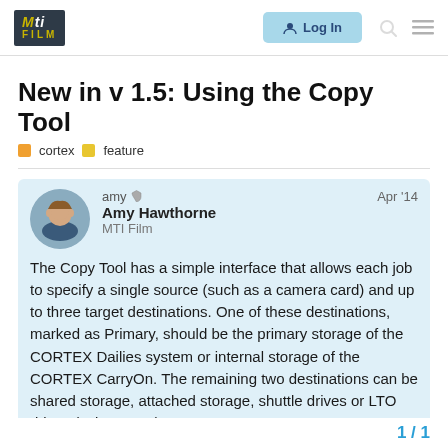MTI FILM | Log In
New in v 1.5: Using the Copy Tool
cortex   feature
amy  Amy Hawthorne  MTI Film  Apr '14
The Copy Tool has a simple interface that allows each job to specify a single source (such as a camera card) and up to three target destinations. One of these destinations, marked as Primary, should be the primary storage of the CORTEX Dailies system or internal storage of the CORTEX CarryOn. The remaining two destinations can be shared storage, attached storage, shuttle drives or LTO drives (using LTFS).
Each copy job can generate optional MD5 Checksums for verification. These checksums will be available in any Manifest file created from the job.
1 / 1